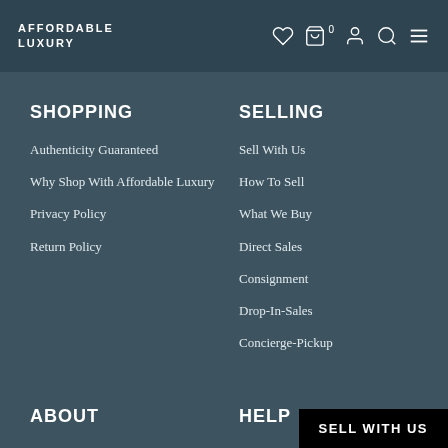AFFORDABLE LUXURY
SHOPPING
Authenticity Guaranteed
Why Shop With Affordable Luxury
Privacy Policy
Return Policy
SELLING
Sell With Us
How To Sell
What We Buy
Direct Sales
Consignment
Drop-In-Sales
Concierge-Pickup
ABOUT
Contact Us
HELP
Contact Us
SELL WITH US